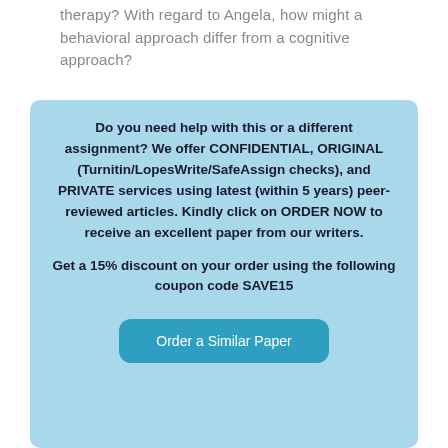therapy? With regard to Angela, how might a behavioral approach differ from a cognitive approach?
Do you need help with this or a different assignment? We offer CONFIDENTIAL, ORIGINAL (Turnitin/LopesWrite/SafeAssign checks), and PRIVATE services using latest (within 5 years) peer-reviewed articles. Kindly click on ORDER NOW to receive an excellent paper from our writers.

Get a 15% discount on your order using the following coupon code SAVE15
Order a Similar Paper